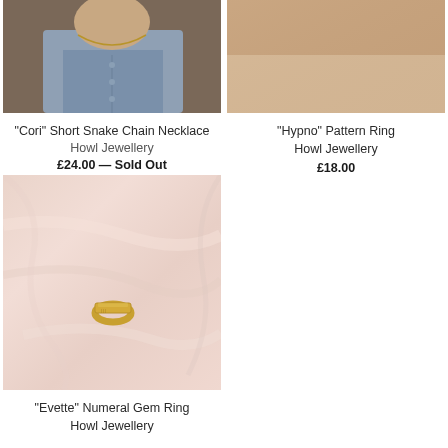[Figure (photo): Person wearing a necklace, denim shirt visible, gold snake chain necklace at neck]
“Cori” Short Snake Chain Necklace
Howl Jewellery
£24.00 — Sold Out
[Figure (photo): Close-up of bare skin/neck area with soft peach-tan tone, ring visible]
“Hypno” Pattern Ring
Howl Jewellery
£18.00
[Figure (photo): Gold band ring resting on soft pink-beige fabric/silk]
“Evette” Numeral Gem Ring
Howl Jewellery